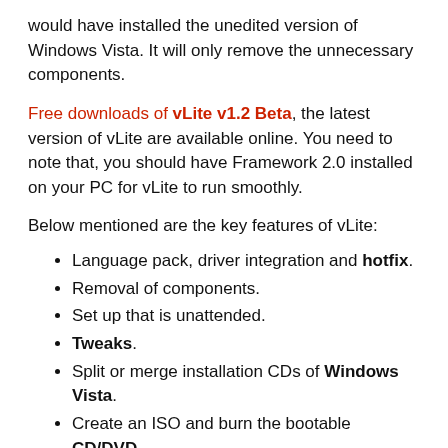would have installed the unedited version of Windows Vista. It will only remove the unnecessary components.
Free downloads of vLite v1.2 Beta, the latest version of vLite are available online. You need to note that, you should have Framework 2.0 installed on your PC for vLite to run smoothly.
Below mentioned are the key features of vLite:
Language pack, driver integration and hotfix.
Removal of components.
Set up that is unattended.
Tweaks.
Split or merge installation CDs of Windows Vista.
Create an ISO and burn the bootable CD/DVD.